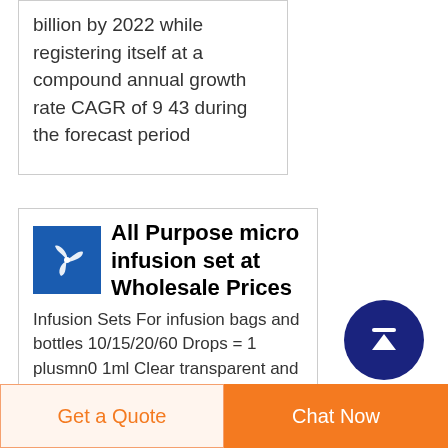billion by 2022 while registering itself at a compound annual growth rate CAGR of 9 43 during the forecast period
All Purpose micro infusion set at Wholesale Prices
Infusion Sets For infusion bags and bottles 10/15/20/60 Drops = 1 plusmn0 1ml Clear transparent and flexible drip chamber Soft and kink
[Figure (logo): Blue square logo with white fan/propeller icon]
[Figure (other): Dark navy blue circular scroll-to-top button with white upward arrow]
Get a Quote
Chat Now